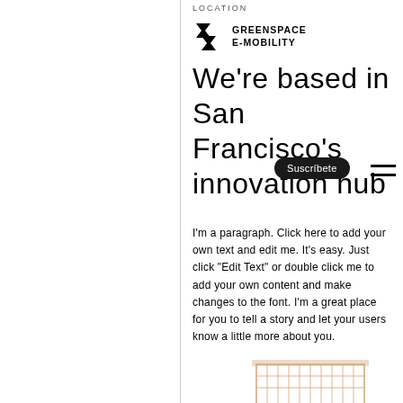LOCATION
[Figure (logo): Greenspace E-Mobility logo with angular chevron/arrow graphic on the left and stacked text 'GREENSPACE E-MOBILITY' on the right]
We're based in San Francisco's innovation hub
Suscríbete
I'm a paragraph. Click here to add your own text and edit me. It's easy. Just click "Edit Text" or double click me to add your own content and make changes to the font. I'm a great place for you to tell a story and let your users know a little more about you.
[Figure (illustration): Partial illustration of a building facade at the bottom of the page]